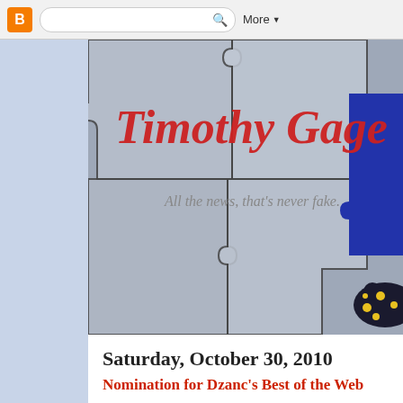Blogger navigation bar with logo, search box, and More button
[Figure (screenshot): Blog header banner image showing a grey jigsaw puzzle background with red cursive text 'Timothy Gage' and italic text 'All the news, that's never fake.' with a blue puzzle piece and spotted salamander in the lower right corner]
Saturday, October 30, 2010
Nomination for Dzanc's Best of the Web